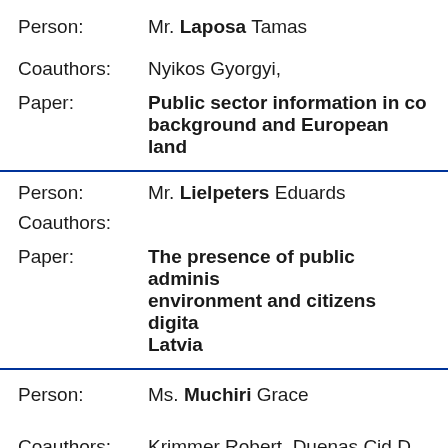Person: Mr. Laposa Tamas
Coauthors: Nyikos Gyorgyi,
Paper: Public sector information in co- background and European land-
Person: Mr. Lielpeters Eduards
Coauthors:
Paper: The presence of public adminis- environment and citizens digita- Latvia
Person: Ms. Muchiri Grace
Coauthors: Krimmer Robert, Duenas Cid D